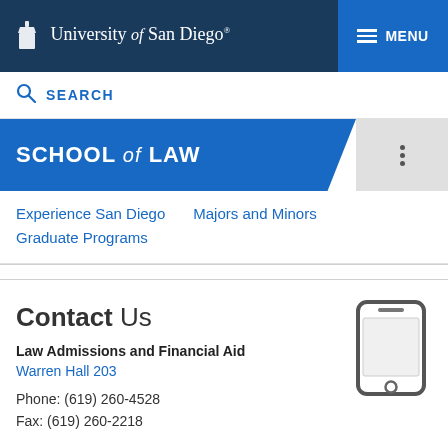University of San Diego — MENU
SEARCH
SCHOOL of LAW
Experience San Diego
Majors and Minors
Graduate Programs
Contact Us
Law Admissions and Financial Aid
Warren Hall 203
Phone: (619) 260-4528
Fax: (619) 260-2218
[Figure (illustration): Mobile phone icon (smartphone silhouette in dark gray)]